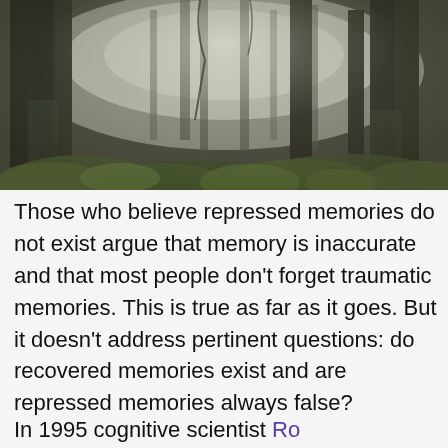[Figure (photo): A misty forest scene with tall dark tree trunks, green ferns and undergrowth on the forest floor, and soft diffused light filtering through the foggy air among the trees.]
Those who believe repressed memories do not exist argue that memory is inaccurate and that most people don't forget traumatic memories. This is true as far as it goes. But it doesn't address pertinent questions: do recovered memories exist and are repressed memories always false?
In 1995 cognitive scientist Ro...